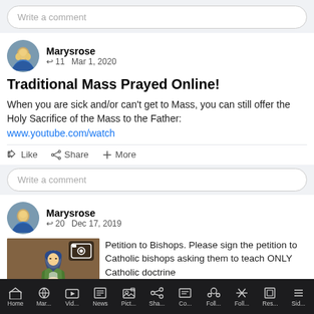Write a comment
Marysrose
↩ 11  Mar 1, 2020
Traditional Mass Prayed Online!
When you are sick and/or can't get to Mass, you can still offer the Holy Sacrifice of the Mass to the Father: www.youtube.com/watch
👍 Like   🔗 Share   ➕ More
Write a comment
Marysrose
↩ 20  Dec 17, 2019
[Figure (photo): Religious figure painting (Virgin Mary) with camera icon overlay]
Petition to Bishops. Please sign the petition to Catholic bishops asking them to teach ONLY Catholic doctrine
Home  Mar...  Vid...  News  Pict...  Sha...  Co...  Foll...  Foll...  Res...  Sid...